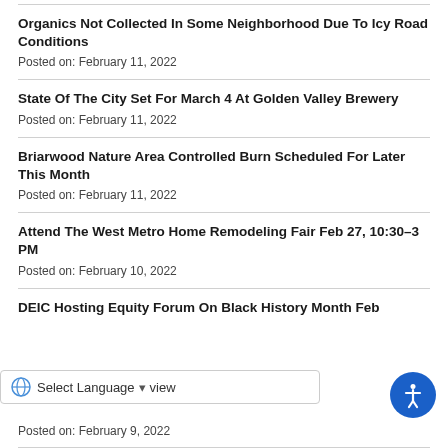Organics Not Collected In Some Neighborhood Due To Icy Road Conditions
Posted on: February 11, 2022
State Of The City Set For March 4 At Golden Valley Brewery
Posted on: February 11, 2022
Briarwood Nature Area Controlled Burn Scheduled For Later This Month
Posted on: February 11, 2022
Attend The West Metro Home Remodeling Fair Feb 27, 10:30–3 PM
Posted on: February 10, 2022
DEIC Hosting Equity Forum On Black History Month Feb [preview]
Posted on: February 9, 2022